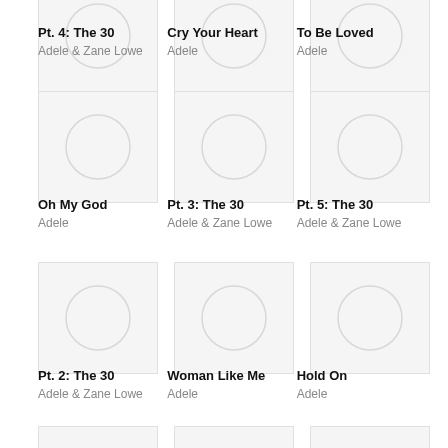[Figure (illustration): Album art placeholder with circle - Pt. 4: The 30]
Pt. 4: The 30
Adele & Zane Lowe
[Figure (illustration): Album art placeholder with circle - Cry Your Heart]
Cry Your Heart
Adele
[Figure (illustration): Album art placeholder with circle - To Be Loved]
To Be Loved
Adele
[Figure (illustration): Album art placeholder with circle - Oh My God]
Oh My God
Adele
[Figure (illustration): Album art placeholder with circle - Pt. 3: The 30]
Pt. 3: The 30
Adele & Zane Lowe
[Figure (illustration): Album art placeholder with circle - Pt. 5: The 30]
Pt. 5: The 30
Adele & Zane Lowe
[Figure (illustration): Album art placeholder with circle - Pt. 2: The 30]
Pt. 2: The 30
Adele & Zane Lowe
[Figure (illustration): Album art placeholder with circle - Woman Like Me]
Woman Like Me
Adele
[Figure (illustration): Album art placeholder with circle - Hold On]
Hold On
Adele
[Figure (illustration): Album art placeholder with circle - unknown row 4 col 1]
[Figure (illustration): Album art placeholder with circle - unknown row 4 col 2]
[Figure (illustration): Album art placeholder with circle - unknown row 4 col 3]